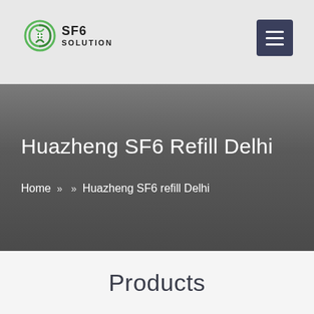SF6 SOLUTION
Huazheng SF6 Refill Delhi
Home » » Huazheng SF6 refill Delhi
Products